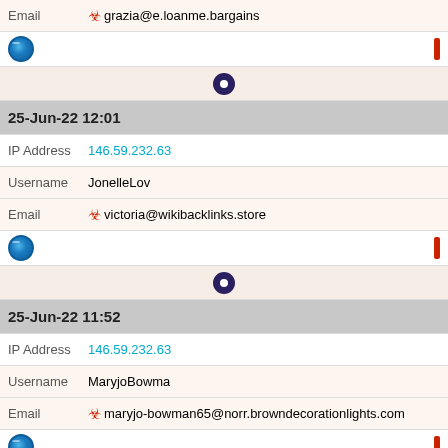Email 🧨 grazia@e.loanme.bargains
[Figure (other): Globe icon and red bar row]
[Figure (other): User icon row]
25-Jun-22 12:01
IP Address 146.59.232.63
Username JonelleLov
Email 🧨 victoria@wikibacklinks.store
[Figure (other): Globe icon and red bar row]
[Figure (other): User icon row]
25-Jun-22 11:52
IP Address 146.59.232.63
Username MaryjoBowma
Email 🧨 maryjo-bowman65@norr.browndecorationlights.com
[Figure (other): Globe icon and red bar row]
[Figure (other): User icon row]
25-Jun-22 11:46
IP Address 146.59.232.63